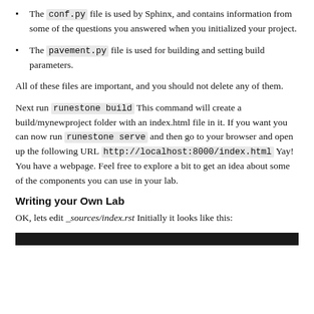The conf.py file is used by Sphinx, and contains information from some of the questions you answered when you initialized your project.
The pavement.py file is used for building and setting build parameters.
All of these files are important, and you should not delete any of them.
Next run runestone build This command will create a build/mynewproject folder with an index.html file in it. If you want you can now run runestone serve and then go to your browser and open up the following URL http://localhost:8000/index.html Yay! You have a webpage. Feel free to explore a bit to get an idea about some of the components you can use in your lab.
Writing your Own Lab
OK, lets edit _sources/index.rst Initially it looks like this:
[Figure (screenshot): Dark/black bar at bottom of page representing a code or terminal screenshot area]